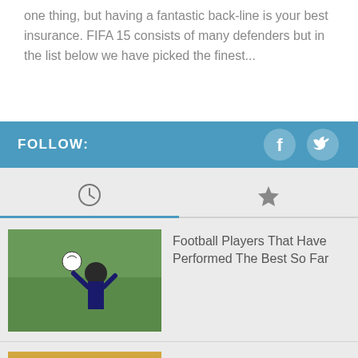one thing, but having a fantastic back-line is your best insurance. FIFA 15 consists of many defenders but in the list below we have picked the finest...
FOLLOW:
[Figure (other): Social media icons: Facebook and Twitter]
[Figure (other): Tab icons: clock (recent) and star (favorites) with active underline on clock tab]
[Figure (photo): Football goalkeeper jumping to save a ball, crowd in background]
Football Players That Have Performed The Best So Far
[Figure (photo): Yellow sports car on a road with desert/golden landscape]
Fastest Car In The World Top Speed List